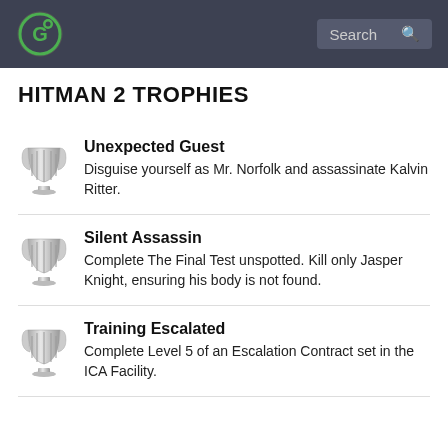Search
HITMAN 2 TROPHIES
Unexpected Guest — Disguise yourself as Mr. Norfolk and assassinate Kalvin Ritter.
Silent Assassin — Complete The Final Test unspotted. Kill only Jasper Knight, ensuring his body is not found.
Training Escalated — Complete Level 5 of an Escalation Contract set in the ICA Facility.